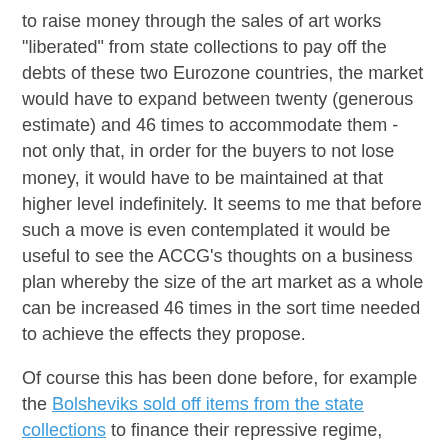to raise money through the sales of art works "liberated" from state collections to pay off the debts of these two Eurozone countries, the market would have to expand between twenty (generous estimate) and 46 times to accommodate them - not only that, in order for the buyers to not lose money, it would have to be maintained at that higher level indefinitely. It seems to me that before such a move is even contemplated it would be useful to see the ACCG's thoughts on a business plan whereby the size of the art market as a whole can be increased 46 times in the sort time needed to achieve the effects they propose.
Of course this has been done before, for example the Bolsheviks sold off items from the state collections to finance their repressive regime, many of them ending up in US public collections where they remain to this day (Anne Odom, Wendy R. Salmond (Eds) 2009, 'Treasure into Tractors: The Selling of Russia's Cultural Heritage, 1918-1938, University of Washington Press). It seems some antiquity dealers would like to see the return of the days of the Robber Barons.